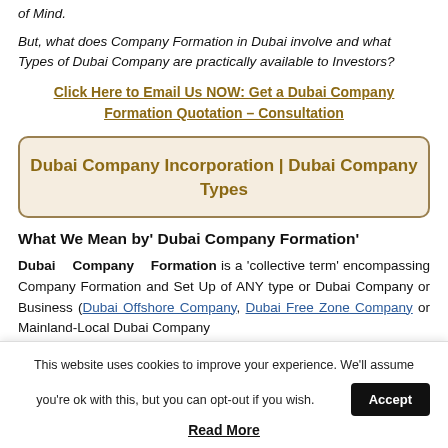of Mind.
But, what does Company Formation in Dubai involve and what Types of Dubai Company are practically available to Investors?
Click Here to Email Us NOW: Get a Dubai Company Formation Quotation – Consultation
Dubai Company Incorporation | Dubai Company Types
What We Mean by' Dubai Company Formation'
Dubai Company Formation is a 'collective term' encompassing Company Formation and Set Up of ANY type or Dubai Company or Business (Dubai Offshore Company, Dubai Free Zone Company or Mainland-Local Dubai Company
This website uses cookies to improve your experience. We'll assume you're ok with this, but you can opt-out if you wish.
Accept
Read More